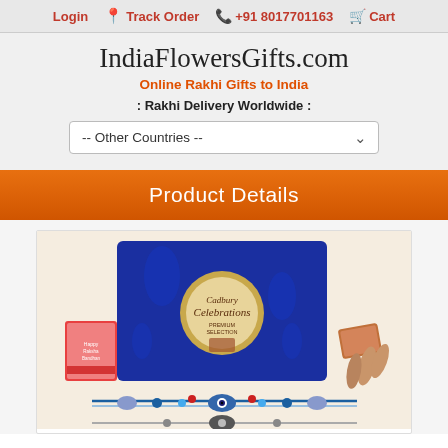Login | Track Order | +91 8017701163 | Cart
IndiaFlowersGifts.com
Online Rakhi Gifts to India
: Rakhi Delivery Worldwide :
-- Other Countries --
Product Details
[Figure (photo): Cadbury Celebrations premium selection chocolate box with Rakhi bracelet and greeting card on a light background.]